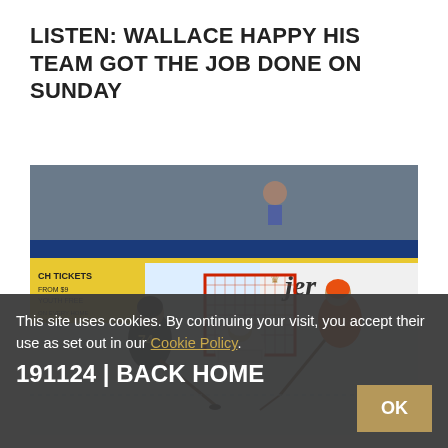LISTEN: WALLACE HAPPY HIS TEAM GOT THE JOB DONE ON SUNDAY
READ MORE
[Figure (photo): Ice hockey game action photo: a player in black jersey #74 shooting toward goal, goalie in white crouching, orange-jersey defender in background. Rink side boards visible with 'CH TICKETS' and 'jer' (jersey) advertisements.]
This site uses cookies. By continuing your visit, you accept their use as set out in our Cookie Policy.
OK
191124 | BACK HOME